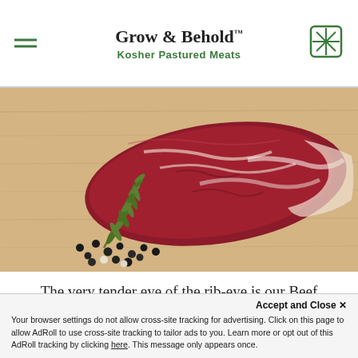Grow & Behold™ Kosher Pastured Meats
[Figure (photo): Raw beef cut (eye of the rib-eye / tenderloin) on a wooden cutting board with rosemary sprig and scattered black peppercorns]
The very tender eye of the rib-eye is our Beef "Tenderloin"
Accept and Close ✕
Your browser settings do not allow cross-site tracking for advertising. Click on this page to allow AdRoll to use cross-site tracking to tailor ads to you. Learn more or opt out of this AdRoll tracking by clicking here. This message only appears once.